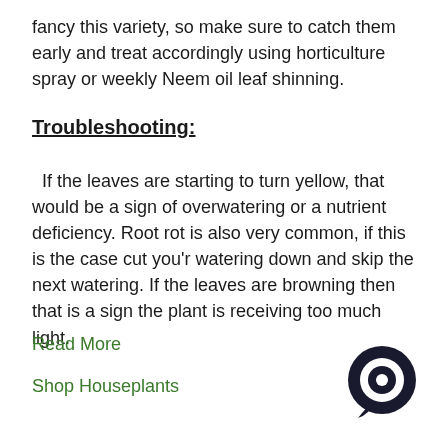fancy this variety, so make sure to catch them early and treat accordingly using horticulture spray or weekly Neem oil leaf shinning.
Troubleshooting:
If the leaves are starting to turn yellow, that would be a sign of overwatering or a nutrient deficiency. Root rot is also very common, if this is the case cut you'r watering down and skip the next watering. If the leaves are browning then that is a sign the plant is receiving too much light.
Read More
Shop Houseplants
[Figure (illustration): Circular chat bubble icon, dark navy/black, bottom-right corner]